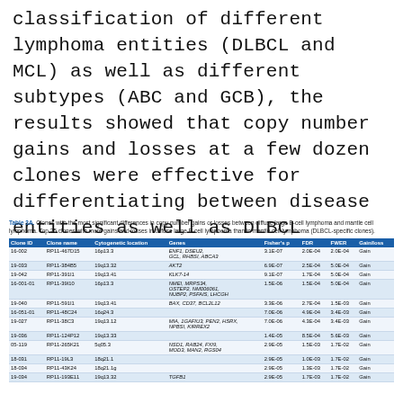classification of different lymphoma entities (DLBCL and MCL) as well as different subtypes (ABC and GCB), the results showed that copy number gains and losses at a few dozen clones were effective for differentiating between disease entities as well as DLBCL subtypes. This study demonstrates that only a small subset of clones is required for a highly accurate classification.
Table 3A. Clones with the most significant differences in copy number gains or losses between diffuse large B-cell lymphoma and mantle cell lymphoma. Top 25 clones with more gains and losses in diffuse large B-cell lymphoma than in mantle cell lymphoma (DLBCL-specific clones).
| Clone ID | Clone name | Cytogenetic location | Genes | Fisher's p | FDR | FWER | Gain/loss |
| --- | --- | --- | --- | --- | --- | --- | --- |
| 16-002 | RP11-467D15 | 16p13.3 | ENF1, DSEU2, GCL, RHBSI, ABCA3 | 3.1E-07 | 2.0E-04 | 2.0E-04 | Gain |
| 19-033 | RP11-384B5 | 19q13.32 | AKT2 | 6.9E-07 | 2.5E-04 | 5.0E-04 | Gain |
| 19-042 | RP11-391I1 | 19q13.41 | KLK7-14 | 9.1E-07 | 1.7E-04 | 5.0E-04 | Gain |
| 16-001-01 | RP11-39I10 | 16p13.3 | NMEI, MRPS34, OSTEP2, NM006061, NUBP2, PSFAIS, LHCGH | 1.5E-06 | 1.5E-04 | 5.0E-04 | Gain |
| 19-040 | RP11-591I1 | 19q13.41 | BAX, CD37, BCL2L12 | 3.3E-06 | 2.7E-04 | 1.5E-03 | Gain |
| 16-051-01 | RP11-48C24 | 16q24.3 |  | 7.0E-06 | 4.9E-04 | 3.4E-03 | Gain |
| 19-027 | RP11-38C3 | 19q13.12 | MIA, 1GAFIU3, PEN2, HSRX, NPBSI, KIRREX2 | 7.0E-06 | 4.3E-04 | 3.4E-03 | Gain |
| 19-036 | RP11-124P12 | 19q13.33 |  | 1.4E-05 | 8.5E-04 | 5.6E-03 | Gain |
| 05-119 | RP11-265K21 | 5q05.3 | NSD1, RAB24, FXI9, MOD3, MAN2, RGS04 | 2.9E-05 | 1.5E-03 | 1.7E-02 | Gain |
| 18-031 | RP11-19L3 | 18q21.1 |  | 2.9E-05 | 1.0E-03 | 1.7E-02 | Gain |
| 18-034 | RP11-43K24 | 18q21.1g |  | 2.9E-05 | 1.3E-03 | 1.7E-02 | Gain |
| 19-034 | RP11-193E11 | 19q13.32 | TGFB1 | 2.9E-05 | 1.7E-03 | 1.7E-02 | Gain |